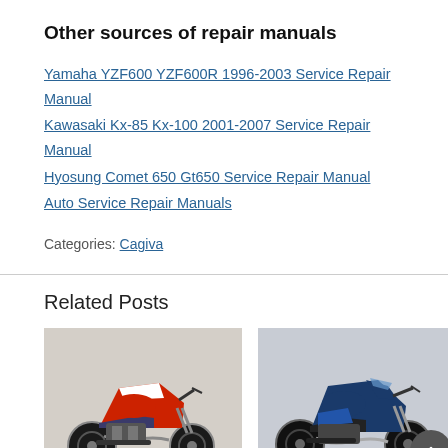Other sources of repair manuals
Yamaha YZF600 YZF600R 1996-2003 Service Repair Manual
Kawasaki Kx-85 Kx-100 2001-2007 Service Repair Manual
Hyosung Comet 650 Gt650 Service Repair Manual
Auto Service Repair Manuals
Categories:  Cagiva
Related Posts
[Figure (photo): Red and white dirt/enduro motorcycle (Cagiva) parked, side view]
[Figure (photo): Blue adventure/touring motorcycle (Cagiva) parked, side view]